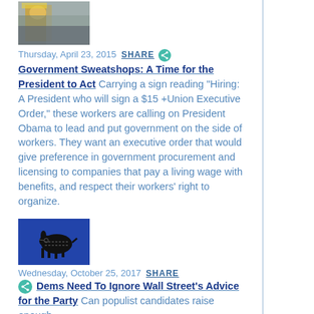[Figure (photo): Protest rally photo showing a Rosie the Riveter sign and crowd in the background]
Thursday, April 23, 2015  SHARE
Government Sweatshops: A Time for the President to Act  Carrying a sign reading "Hiring: A President who will sign a $15 +Union Executive Order," these workers are calling on President Obama to lead and put government on the side of workers. They want an executive order that would give preference in government procurement and licensing to companies that pay a living wage with benefits, and respect their workers' right to organize.
[Figure (illustration): Democratic donkey illustration on blue background with dotted outline]
Wednesday, October 25, 2017  SHARE
Dems Need To Ignore Wall Street's Advice for the Party  Can populist candidates raise enough